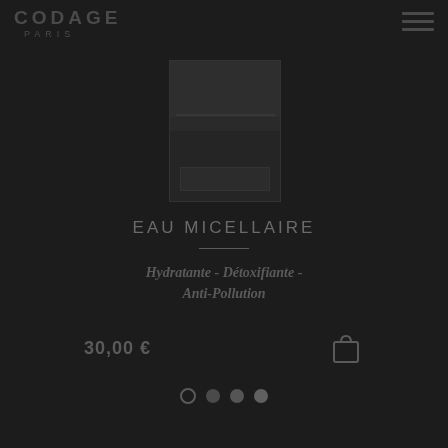CODAGE PARIS
[Figure (photo): Product image of Codage Paris Eau Micellaire bottle on dark background]
EAU MICELLAIRE
Hydratante - Détoxifiante - Anti-Pollution
30,00 €